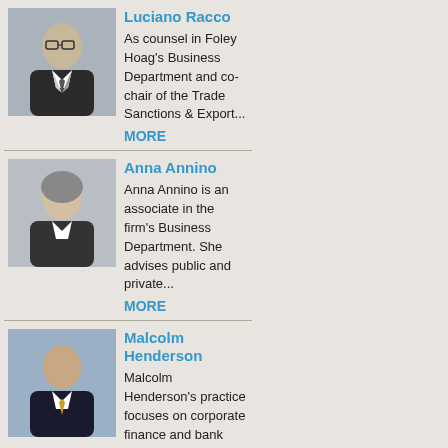[Figure (photo): Headshot of Luciano Racco, male, dark hair, glasses, suit and tie]
Luciano Racco
As counsel in Foley Hoag's Business Department and co-chair of the Trade Sanctions & Export... MORE
[Figure (photo): Headshot of Anna Annino, female, light hair, business attire]
Anna Annino
Anna Annino is an associate in the firm's Business Department. She advises public and private... MORE
[Figure (photo): Headshot of Malcolm Henderson, male, suit and yellow tie]
Malcolm Henderson
Malcolm Henderson's practice focuses on corporate finance and bank lending. Malcolm has... MORE
[Figure (photo): Headshot of Brittan Heller, female, blonde hair, dark top]
Brittan Heller
Brittan Heller has structured her practice at Foley Hoag around the areas of law, technology